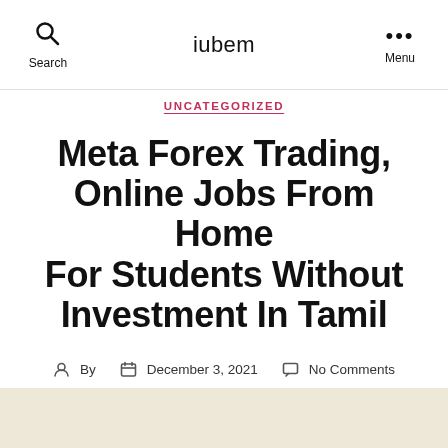iubem
UNCATEGORIZED
Meta Forex Trading, Online Jobs From Home For Students Without Investment In Tamil
By  December 3, 2021  No Comments